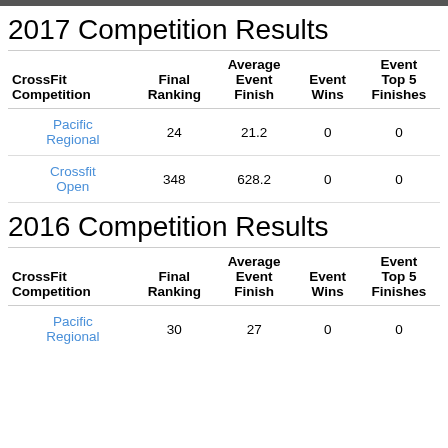2017 Competition Results
| CrossFit Competition | Final Ranking | Average Event Finish | Event Wins | Event Top 5 Finishes |
| --- | --- | --- | --- | --- |
| Pacific Regional | 24 | 21.2 | 0 | 0 |
| Crossfit Open | 348 | 628.2 | 0 | 0 |
2016 Competition Results
| CrossFit Competition | Final Ranking | Average Event Finish | Event Wins | Event Top 5 Finishes |
| --- | --- | --- | --- | --- |
| Pacific Regional | 30 | 27 | 0 | 0 |